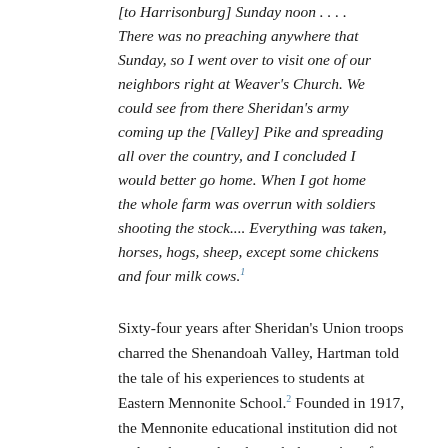[to Harrisonburg] Sunday noon . . . . There was no preaching anywhere that Sunday, so I went over to visit one of our neighbors right at Weaver's Church. We could see from there Sheridan's army coming up the [Valley] Pike and spreading all over the country, and I concluded I would better go home. When I got home the whole farm was overrun with soldiers shooting the stock.... Everything was taken, horses, hogs, sheep, except some chickens and four milk cows.¹
Sixty-four years after Sheridan's Union troops charred the Shenandoah Valley, Hartman told the tale of his experiences to students at Eastern Mennonite School.² Founded in 1917, the Mennonite educational institution did not endure the war, but through the stories of Hartman and others, there developed a collective memory of the Civil War.